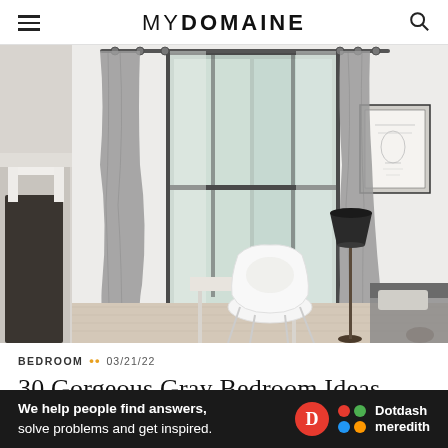MYDOMAINE
[Figure (photo): Bedroom interior with gray curtains hanging from a rod over a large window, a white Eames-style chair, black floor lamp, white fireplace mantel on the left, and a bed with dark bedding in the lower right. Framed artwork on the right wall. Light walls, airy and minimal.]
BEDROOM •• 03/21/22
30 Gorgeous Gray Bedroom Ideas That
[Figure (infographic): Dark banner advertisement: 'We help people find answers, solve problems and get inspired.' with Dotdash Meredith logo (red circle D, colorful dots, and white text).]